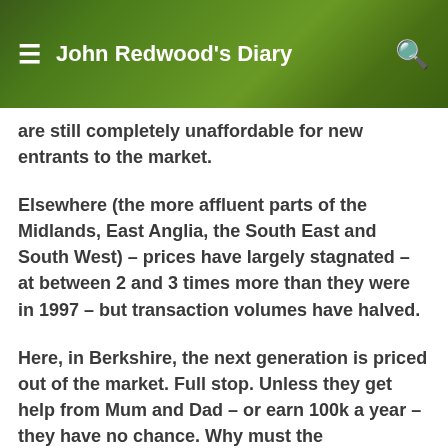John Redwood's Diary
are still completely unaffordable for new entrants to the market.
Elsewhere (the more affluent parts of the Midlands, East Anglia, the South East and South West) – prices have largely stagnated – at between 2 and 3 times more than they were in 1997 – but transaction volumes have halved.
Here, in Berkshire, the next generation is priced out of the market. Full stop. Unless they get help from Mum and Dad – or earn 100k a year – they have no chance. Why must the government interfere now? They were quite happy not to interfere while the boom was taking place. You can't buck the market – as Margaret herself said. The government needs to get out of the housing market and let prices fall to an